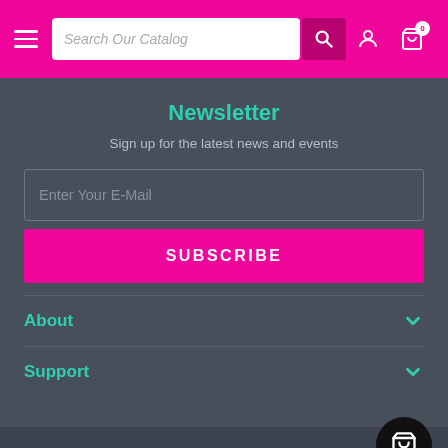Search Our Catalog
Newsletter
Sign up for the latest news and events
Enter Your E-Mail
SUBSCRIBE
About
Support
© 2022 thegamecenter.store, All Rights Reserved
Powered by BinderPOS